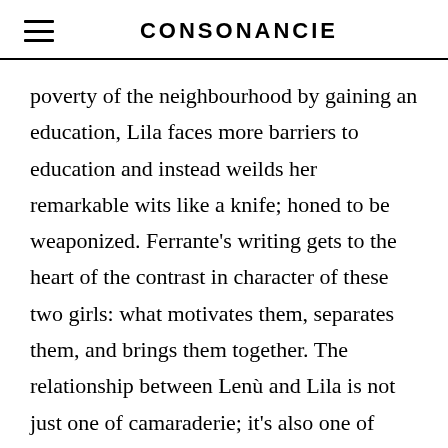CONSONANCIE
poverty of the neighbourhood by gaining an education, Lila faces more barriers to education and instead weilds her remarkable wits like a knife; honed to be weaponized. Ferrante’s writing gets to the heart of the contrast in character of these two girls: what motivates them, separates them, and brings them together. The relationship between Lenù and Lila is not just one of camaraderie; it’s also one of competition. We follow these girls from age seven to their mid-teens, and whether